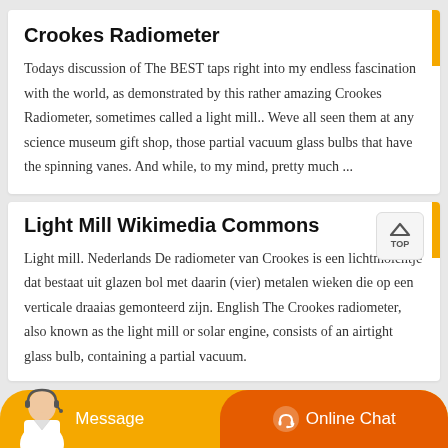Crookes Radiometer
Todays discussion of The BEST taps right into my endless fascination with the world, as demonstrated by this rather amazing Crookes Radiometer, sometimes called a light mill.. Weve all seen them at any science museum gift shop, those partial vacuum glass bulbs that have the spinning vanes. And while, to my mind, pretty much ...
Light Mill Wikimedia Commons
Light mill. Nederlands De radiometer van Crookes is een lichtmolentje dat bestaat uit glazen bol met daarin (vier) metalen wieken die op een verticale draaias gemonteerd zijn. English The Crookes radiometer, also known as the light mill or solar engine, consists of an airtight glass bulb, containing a partial vacuum.
Message   Online Chat